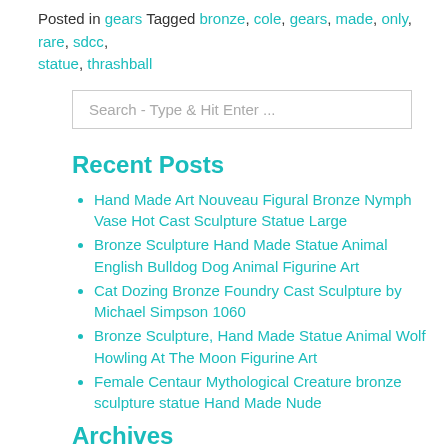Posted in gears Tagged bronze, cole, gears, made, only, rare, sdcc, statue, thrashball
Search - Type & Hit Enter ...
Recent Posts
Hand Made Art Nouveau Figural Bronze Nymph Vase Hot Cast Sculpture Statue Large
Bronze Sculpture Hand Made Statue Animal English Bulldog Dog Animal Figurine Art
Cat Dozing Bronze Foundry Cast Sculpture by Michael Simpson 1060
Bronze Sculpture, Hand Made Statue Animal Wolf Howling At The Moon Figurine Art
Female Centaur Mythological Creature bronze sculpture statue Hand Made Nude
Archives